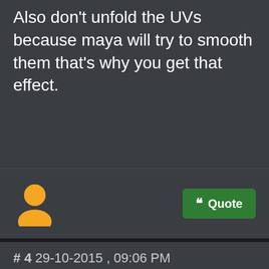Also don't unfold the UVs because maya will try to smooth them that's why you get that effect.
[Figure (illustration): Generic user avatar icon in yellow/orange color showing a person silhouette]
# 4 29-10-2015 , 09:06 PM
[Figure (logo): Gold/bronze oval badge with laurel wreath and stylized S letter in center]
daverave